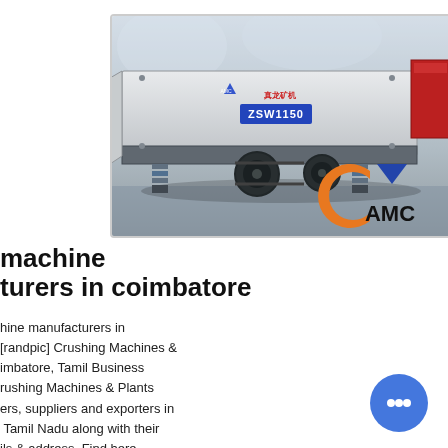[Figure (photo): Industrial vibrating feeder machine (ZSW1150) with AMC brand logo, shown in a factory/warehouse setting. The machine is metallic grey with a red side panel, spring suspension, and drive wheels visible. Chinese text and model number label on the machine body.]
machine manufacturers in coimbatore
hine manufacturers in [randpic] Crushing Machines & imbatore, Tamil Business rushing Machines & Plants ers, suppliers and exporters in Tamil Nadu along with their ils & address. Find here